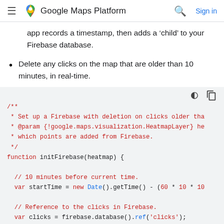Google Maps Platform  Sign in
app records a timestamp, then adds a 'child' to your Firebase database.
Delete any clicks on the map that are older than 10 minutes, in real-time.
[Figure (screenshot): Code block showing JavaScript function initFirebase with JSDoc comment and code lines including startTime and clicks variable declarations]
/** * Set up a Firebase with deletion on clicks older tha * @param {!google.maps.visualization.HeatmapLayer} he * which points are added from Firebase. */ function initFirebase(heatmap) { // 10 minutes before current time. var startTime = new Date().getTime() - (60 * 10 * 10 // Reference to the clicks in Firebase. var clicks = firebase.database().ref('clicks');